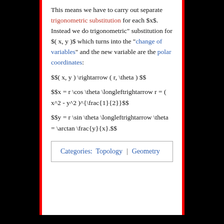This means we have to carry out separate trigonometric substitution for each $x$. Instead we do trigonometric" substitution for $( x, y )$ which turns into the "change of variables" and the new variable are the polar coordinates:
Categories: Topology | Geometry